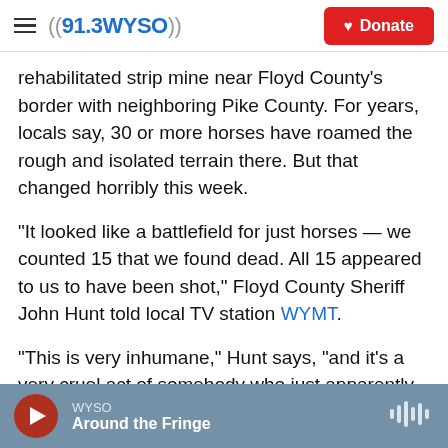≡ ((91.3 WYSO))  [Donate button]
rehabilitated strip mine near Floyd County's border with neighboring Pike County. For years, locals say, 30 or more horses have roamed the rough and isolated terrain there. But that changed horribly this week.
"It looked like a battlefield for just horses — we counted 15 that we found dead. All 15 appeared to us to have been shot," Floyd County Sheriff John Hunt told local TV station WYMT.
"This is very inhumane," Hunt says, "and it's a very cruel act of somebody who just apparently had
WYSO — Around the Fringe